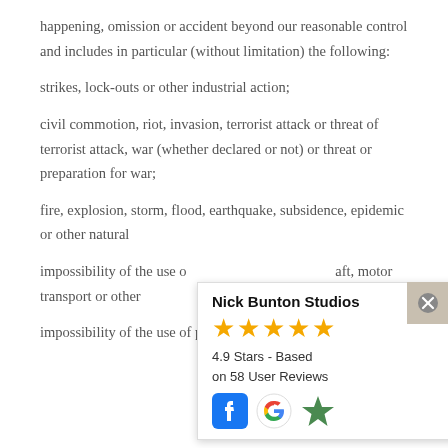happening, omission or accident beyond our reasonable control and includes in particular (without limitation) the following:
strikes, lock-outs or other industrial action;
civil commotion, riot, invasion, terrorist attack or threat of terrorist attack, war (whether declared or not) or threat or preparation for war;
fire, explosion, storm, flood, earthquake, subsidence, epidemic or other natural [disaster;]
impossibility of the use of [railways, shipping, aircraft,] motor transport or other [means of public or private] transport;
impossibility of the use of public or private
[Figure (infographic): Nick Bunton Studios rating card showing 4.9 stars based on 58 user reviews, with Facebook, Google, and star social icons]